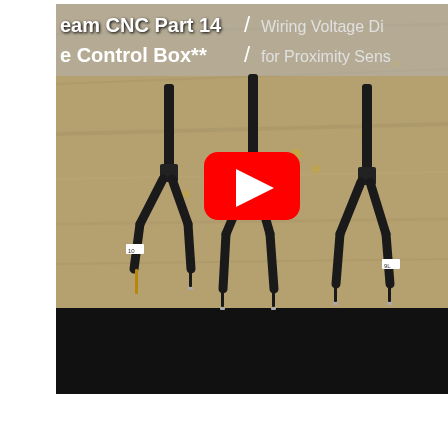[Figure (screenshot): YouTube video thumbnail showing 'Dream CNC Part 14 / Wiring Voltage Di... / e Control Box** / for Proximity Sens...' title overlay on a wooden background with three Y-shaped black cables/wire harnesses laid on wood, and a red YouTube play button in the center. Lower portion has a black bar.]